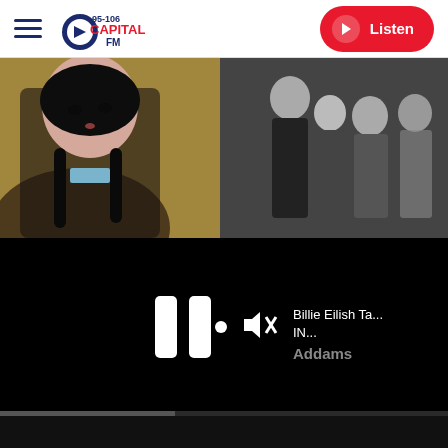95-106 Capital FM — Listen
[Figure (photo): Promotional image for Netflix Wednesday series: left side shows Jenna Ortega as Wednesday Addams in color with autumn background, right side shows the Addams Family cast in black and white]
[Figure (screenshot): Video player overlay on black background showing pause button, mute icon, and partial text 'Billie Eilish Ta... IN... Addams']
Billie Eilish Ta... IN... Addams